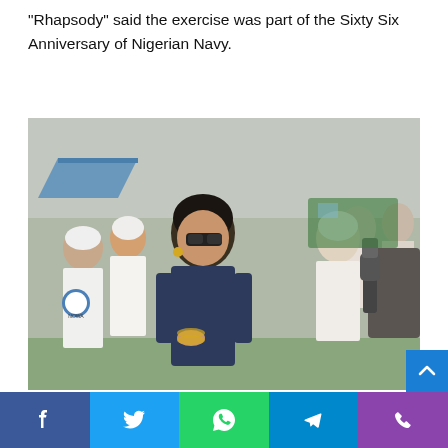“Rhapsody” said the exercise was part of the Sixty Six Anniversary of Nigerian Navy.
[Figure (photo): A woman in a dark navy blue outfit wearing sunglasses and gold bracelets stands among a group of women dressed in white outfits and caps. A microphone is being held towards her. They appear to be at an outdoor event with a crowd and a blue tent in the background. Several women are wearing shirts with a Navy Wives Association logo (NOWA).]
Hajiya Aisha Gambo
Facebook | Twitter | WhatsApp | Telegram | Phone